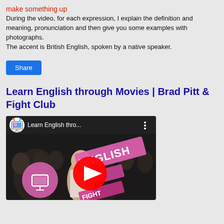make something up
During the video, for each expression, I explain the definition and meaning, pronunciation and then give you some examples with photographs.
The accent is British English, spoken by a native speaker.
Share
Learn English through Movies | Brad Pitt & Fight Club
[Figure (screenshot): YouTube video thumbnail for 'Learn English thro...' showing a Fight Club movie scene with a pink TV channel logo, the YouTube play button, and text reading 'ENGLISH with' overlaid. The video player header shows 'Learn English thro...' and a three-dot menu.]